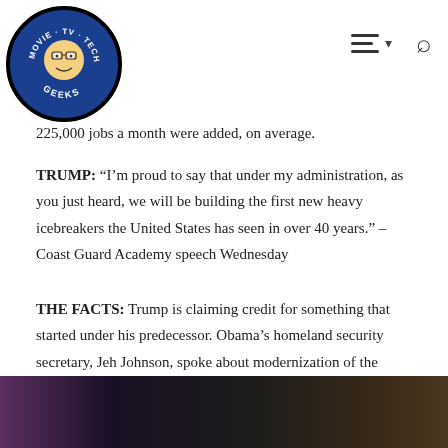Movie TV Tech Geeks logo; hamburger menu and search icon
225,000 jobs a month were added, on average.
TRUMP: “I’m proud to say that under my administration, as you just heard, we will be building the first new heavy icebreakers the United States has seen in over 40 years.” – Coast Guard Academy speech Wednesday
THE FACTS: Trump is claiming credit for something that started under his predecessor. Obama’s homeland security secretary, Jeh Johnson, spoke about modernization of the Coast Guard fleet and design work on a new heavy polar icebreaker a year ago in a speech to graduating Coast Guard cadets.
[Figure (photo): Partial photograph showing people at the bottom of the page, dark/dimly lit scene]